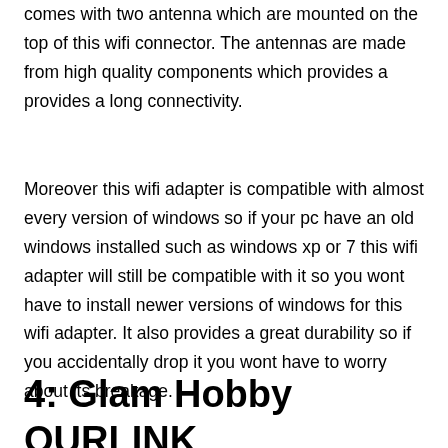comes with two antenna which are mounted on the top of this wifi connector. The antennas are made from high quality components which provides a provides a long connectivity.
Moreover this wifi adapter is compatible with almost every version of windows so if your pc have an old windows installed such as windows xp or 7 this wifi adapter will still be compatible with it so you wont have to install newer versions of windows for this wifi adapter. It also provides a great durability so if you accidentally drop it you wont have to worry about its breakage.
4: Glam Hobby OURLINK 600 Mbps AC600 Wifi